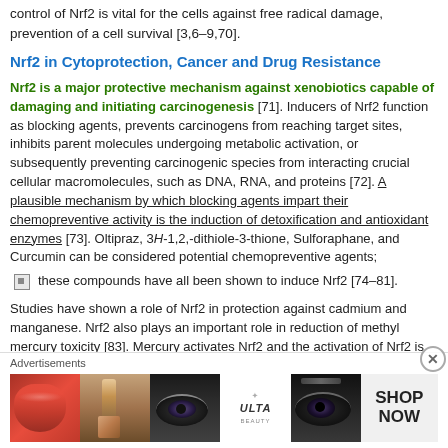control of Nrf2 is vital for the cells against free radical damage, prevention of a cell survival [3,6–9,70].
Nrf2 in Cytoprotection, Cancer and Drug Resistance
Nrf2 is a major protective mechanism against xenobiotics capable of damaging and initiating carcinogenesis [71]. Inducers of Nrf2 function as blocking agents, prevents carcinogens from reaching target sites, inhibits parent molecules undergoing metabolic activation, or subsequently preventing carcinogenic species from interacting crucial cellular macromolecules, such as DNA, RNA, and proteins [72]. A plausible mechanism by which blocking agents impart their chemopreventive activity is the induction of detoxification and antioxidant enzymes [73]. Oltipraz, 3H-1,2,-dithiole-3-thione, Sulforaphane, and Curcumin can be considered potential chemopreventive agents;
these compounds have all been shown to induce Nrf2 [74–81].
Studies have shown a role of Nrf2 in protection against cadmium and manganese. Nrf2 also plays an important role in reduction of methyl mercury toxicity [83]. Mercury activates Nrf2 and the activation of Nrf2 is essential for reduction of methylmercury by facilitating its excretion into extracellular space. In vitro and in vivo studies have shown a role of Nrf2 in neuroprotection and protection against Parkinson's disease [84.
Advertisements